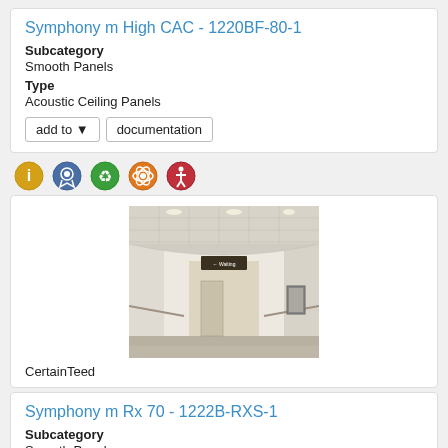Symphony m High CAC - 1220BF-80-1
Subcategory
Smooth Panels
Type
Acoustic Ceiling Panels
[Figure (photo): Interior corridor of a healthcare facility showing acoustic ceiling panels installed, with handrails along the walls and a Waiting sign visible]
CertainTeed
Symphony m Rx 70 - 1222B-RXS-1
Subcategory
Smooth Panels
Type